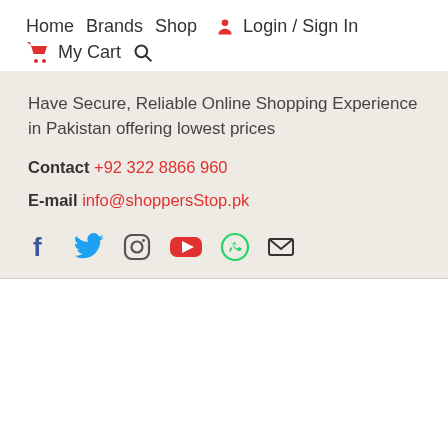Home  Brands  Shop  [person icon] Login / Sign In  [cart icon] My Cart [search icon]
Have Secure, Reliable Online Shopping Experience in Pakistan offering lowest prices
Contact +92 322 8866 960
E-mail info@shoppersStop.pk
[Figure (infographic): Social media icons row: Facebook (dark blue f), Twitter (blue bird), Instagram (outlined camera), YouTube (red play button), WhatsApp (green phone), Email (envelope)]